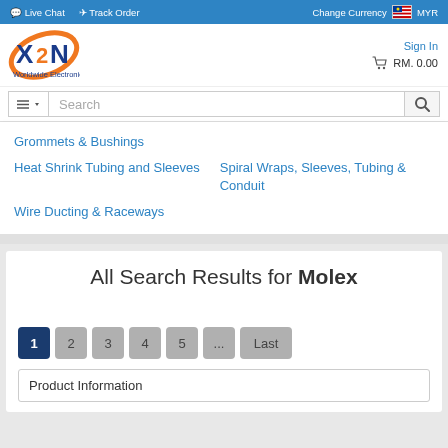Live Chat | Track Order | Change Currency MYR
[Figure (logo): X2N Worldwide Electronics logo with orange orbit graphic and blue letters]
Sign In
RM. 0.00
Search
Grommets & Bushings
Heat Shrink Tubing and Sleeves
Spiral Wraps, Sleeves, Tubing & Conduit
Wire Ducting & Raceways
All Search Results for Molex
1  2  3  4  5  ...  Last
Product Information